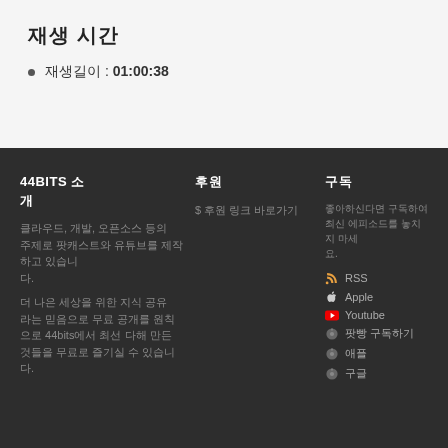재생 시간
재생길이 : 01:00:38
44BITS 소 개
클라우드, 개발, 오픈소스 등의 주제로 팟캐스트와 유튜브를 제작하고 있습니다.
더 나은 세상을 위한 지식 공유라는 믿음으로 무료 공개를 원칙으로 44bits에서 최선 다해 만든 것들을 무료로 즐기실 수 있습니다.
후원
$ 후원 링크 바로가기
구독
좋아하신다면 구독하여 최신 에피소드를 놓치지 마세요.
RSS
Apple
Youtube
팟빵 구독하기
애플
구글